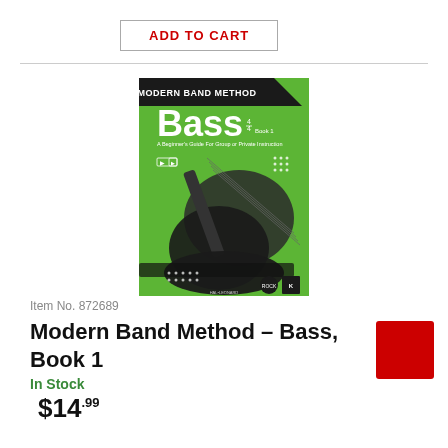ADD TO CART
[Figure (illustration): Book cover for Modern Band Method – Bass, Book 1. Green cover with bass guitar images and black header bar.]
Item No. 872689
Modern Band Method – Bass, Book 1
In Stock
$14.99